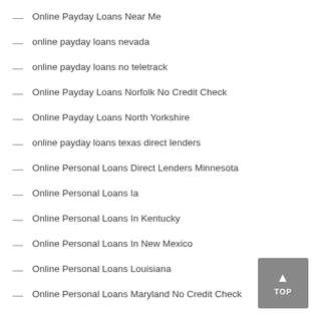Online Payday Loans Near Me
online payday loans nevada
online payday loans no teletrack
Online Payday Loans Norfolk No Credit Check
Online Payday Loans North Yorkshire
online payday loans texas direct lenders
Online Personal Loans Direct Lenders Minnesota
Online Personal Loans Ia
Online Personal Loans In Kentucky
Online Personal Loans In New Mexico
Online Personal Loans Louisiana
Online Personal Loans Maryland No Credit Check
Online Personal Loans Missouri
Online Personal Loans New Hampshire